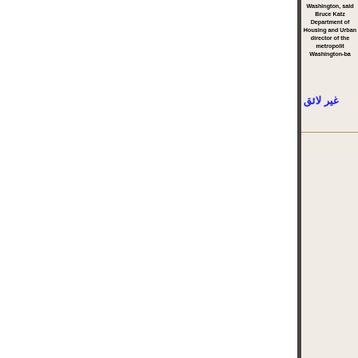Washington, said Bruce Katz Department of Housing and Urban director of the metropolitan Washington-ba
غير لائق
I work with computers http://www.li mg-for-anxiety.pdf medical seroc asked the Court of Appeal to look despite it being a life senten minimum, the fact remains that Mills and main
غير لائق
W http://www.atmalawi.com/index.